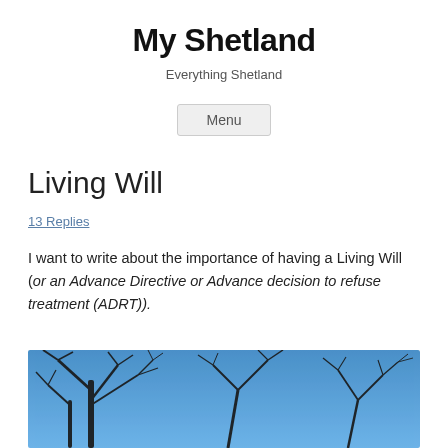My Shetland
Everything Shetland
Menu
Living Will
13 Replies
I want to write about the importance of having a Living Will (or an Advance Directive or Advance decision to refuse treatment (ADRT)).
[Figure (photo): Bare tree branches silhouetted against a blue sky, photo partially visible at the bottom of the page.]